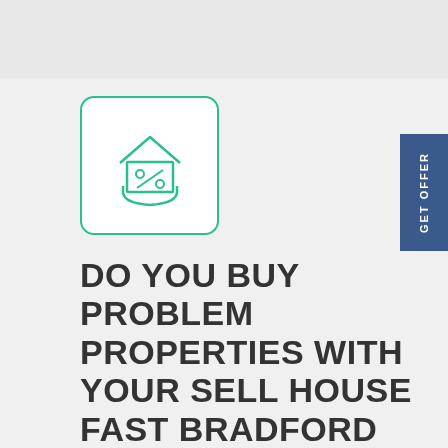[Figure (illustration): A green outlined icon of a house with a percentage symbol, held in a hand, inside a rounded rectangle border with green outline]
DO YOU BUY PROBLEM PROPERTIES WITH YOUR SELL HOUSE FAST BRADFORD SERVICE?
We can look to purchase your